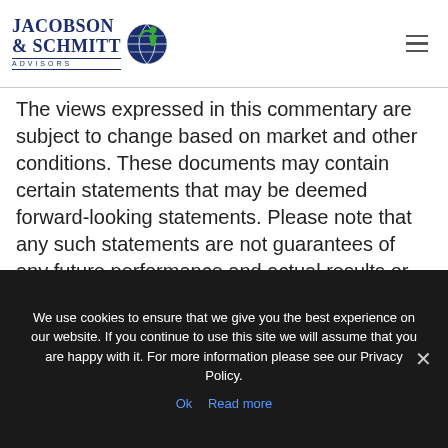Jacobson & Schmitt Advisors
The views expressed in this commentary are subject to change based on market and other conditions. These documents may contain certain statements that may be deemed forward-looking statements. Please note that any such statements are not guarantees of any future performance and actual results or developments may differ materially from those projected. Any projections, market outlooks, or estimates are based upon certain assumptions and should not be construed as indicative of actual events that will
We use cookies to ensure that we give you the best experience on our website. If you continue to use this site we will assume that you are happy with it. For more information please see our Privacy Policy.